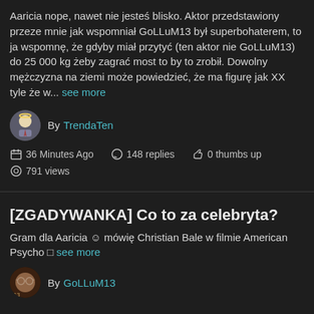Aaricia nope, nawet nie jesteś blisko. Aktor przedstawiony przeze mnie jak wspomniał GoLLuM13 był superbohaterem, to ja wspomnę, że gdyby miał przytyć (ten aktor nie GoLLuM13) do 25 000 kg żeby zagrać most to by to zrobił. Dowolny mężczyzna na ziemi może powiedzieć, że ma figurę jak XX tyle że w... see more
By TrendaTen
36 Minutes Ago  148 replies  0 thumbs up  791 views
[ZGADYWANKA] Co to za celebryta?
Gram dla Aaricia 🙂 mówię Christian Bale w filmie American Psycho □ see more
By GoLLuM13